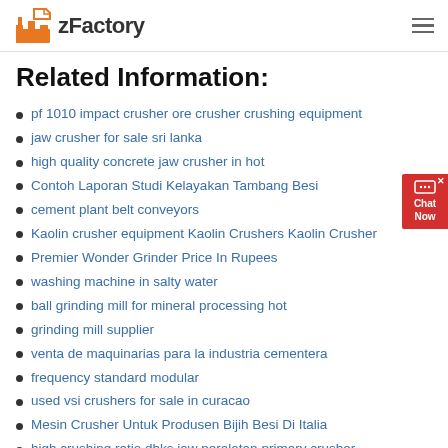zFactory
Related Information:
pf 1010 impact crusher ore crusher crushing equipment
jaw crusher for sale sri lanka
high quality concrete jaw crusher in hot
Contoh Laporan Studi Kelayakan Tambang Besi
cement plant belt conveyors
Kaolin crusher equipment Kaolin Crushers Kaolin Crusher
Premier Wonder Grinder Price In Rupees
washing machine in salty water
ball grinding mill for mineral processing hot
grinding mill supplier
venta de maquinarias para la industria cementera
frequency standard modular
used vsi crushers for sale in curacao
Mesin Crusher Untuk Produsen Bijih Besi Di Italia
high crushing ratio dhks jaw peralatan primary crusher
gruendler crusher aggregate equipment for sale